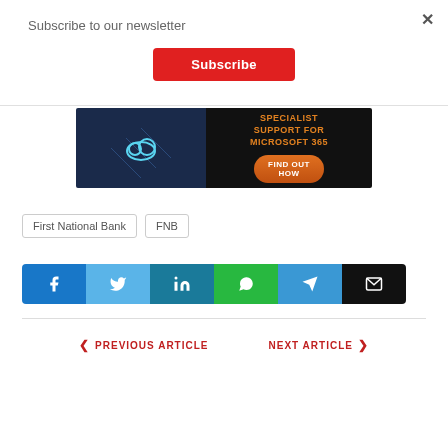Subscribe to our newsletter
Subscribe
[Figure (infographic): Advertisement banner for Microsoft 365 specialist support. Left half shows a blue data center with glowing cloud icon. Right half has black background with orange text 'SPECIALIST SUPPORT FOR MICROSOFT 365' and an orange button reading 'FIND OUT HOW'.]
First National Bank
FNB
[Figure (infographic): Social share buttons row: Facebook (blue), Twitter (light blue), LinkedIn (teal), WhatsApp (green), Telegram (blue), Email (black)]
PREVIOUS ARTICLE
NEXT ARTICLE